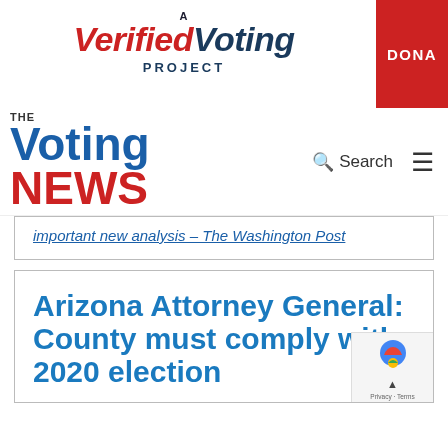A Verified Voting Project
The Voting News | Search | Menu
important new analysis – The Washington Post
Arizona Attorney General: County must comply with 2020 election